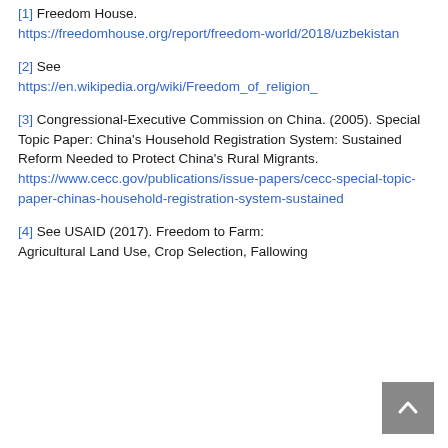[1] Freedom House. https://freedomhouse.org/report/freedom-world/2018/uzbekistan
[2] See https://en.wikipedia.org/wiki/Freedom_of_religion_
[3] Congressional-Executive Commission on China. (2005). Special Topic Paper: China's Household Registration System: Sustained Reform Needed to Protect China's Rural Migrants. https://www.cecc.gov/publications/issue-papers/cecc-special-topic-paper-chinas-household-registration-system-sustained
[4] See USAID (2017). Freedom to Farm: Agricultural Land Use, Crop Selection, Fallowing